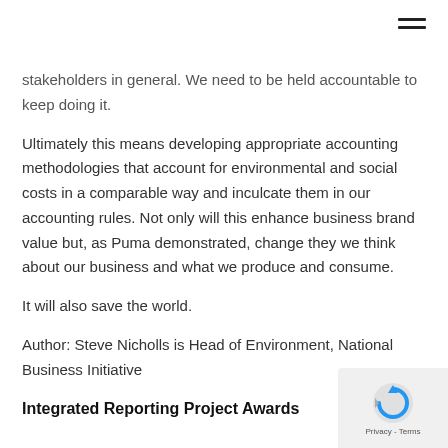stakeholders in general. We need to be held accountable to keep doing it.
Ultimately this means developing appropriate accounting methodologies that account for environmental and social costs in a comparable way and inculcate them in our accounting rules. Not only will this enhance business brand value but, as Puma demonstrated, change they we think about our business and what we produce and consume.
It will also save the world.
Author: Steve Nicholls is Head of Environment, National Business Initiative
Integrated Reporting Project Awards